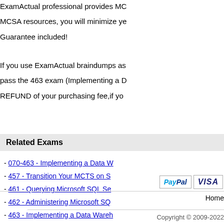ExamActual professional provides MC MCSA resources, you will minimize ye Guarantee included!
If you use ExamActual braindumps as pass the 463 exam (Implementing a D REFUND of your purchasing fee,if yo
Related Exams
- 070-463 - Implementing a Data W
- 457 - Transition Your MCTS on S
- 461 - Querying Microsoft SQL Se
- 462 - Administering Microsoft SQ
- 463 - Implementing a Data Wareho
Home
Copyright © 2009-2022